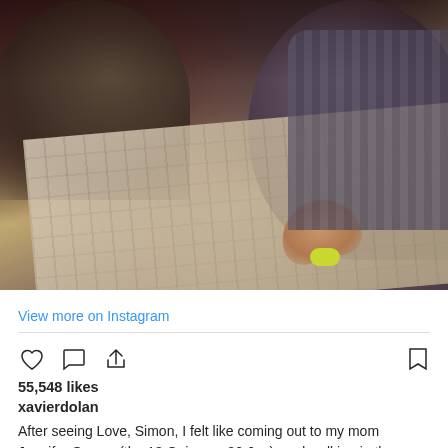[Figure (photo): Two people lying on a bed with plaid blanket, one holding a yellow-green object, warm indoor lighting, intimate scene]
View more on Instagram
55,548 likes
xavierdolan
After seeing Love, Simon, I felt like coming out to my mom Jennifer Garner (the 13 Going on 30 Jen), and walking in the corridor of my high school with a lost, yet sexual gaze. Congrats to my friend @therealnickrobinson who is so generous